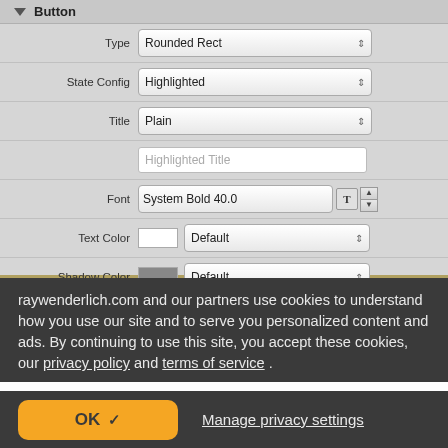[Figure (screenshot): Xcode Interface Builder attribute inspector showing Button properties: Type=Rounded Rect, State Config=Highlighted, Title=Plain, Highlighted Title text field, Font=System Bold 40.0, Text Color=Default, Shadow Color=Default, Image=Highlighted Image, Background=button_tap_selected.png (highlighted with red rounded rectangle border)]
raywenderlich.com and our partners use cookies to understand how you use our site and to serve you personalized content and ads. By continuing to use this site, you accept these cookies, our privacy policy and terms of service .
OK ✓
Manage privacy settings